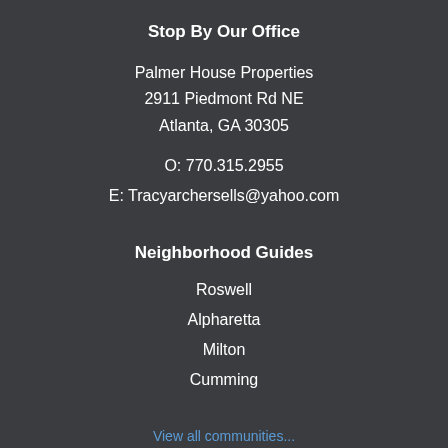Stop By Our Office
Palmer House Properties
2911 Piedmont Rd NE
Atlanta, GA 30305
O: 770.315.2955
E: Tracyarchersells@yahoo.com
Neighborhood Guides
Roswell
Alpharetta
Milton
Cumming
View all communities...